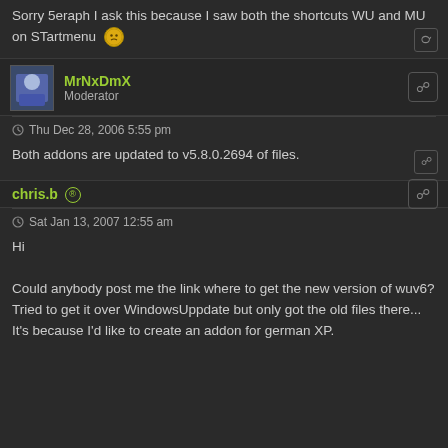Sorry 5eraph I ask this because I saw both the shortcuts WU and MU on STartmenu 😐
MrNxDmX
Moderator
Thu Dec 28, 2006 5:55 pm
Both addons are updated to v5.8.0.2694 of files.
chris.b ®
Sat Jan 13, 2007 12:55 am
Hi

Could anybody post me the link where to get the new version of wuv6? Tried to get it over WindowsUppdate but only got the old files there... It's because I'd like to create an addon for german XP.